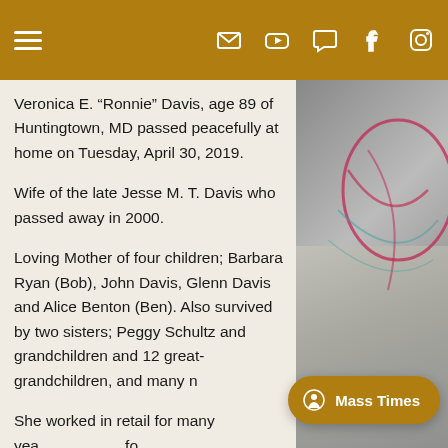Navigation header with hamburger menu and social icons (email, YouTube, chat, Facebook, Instagram)
Veronica E. “Ronnie” Davis, age 89 of Huntingtown, MD passed peacefully at home on Tuesday, April 30, 2019.
Wife of the late Jesse M. T. Davis who passed away in 2000.
Loving Mother of four children; Barbara Ryan (Bob), John Davis, Glenn Davis and Alice Benton (Ben). Also survived by two sisters; Peggy Schultz and grandchildren and 12 great-grandchildren, and many n
She worked in retail for many yea fo displays with Drug Fair, CVS and Drug Emporium. She